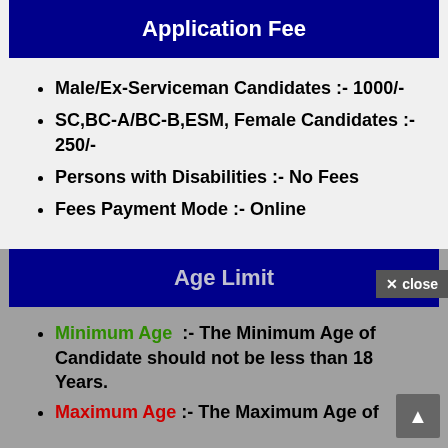Application Fee
Male/Ex-Serviceman Candidates :- 1000/-
SC,BC-A/BC-B,ESM, Female Candidates :- 250/-
Persons with Disabilities :- No Fees
Fees Payment Mode :- Online
Age Limit
Minimum Age :- The Minimum Age of Candidate should not be less than 18 Years.
Maximum Age :- The Maximum Age of